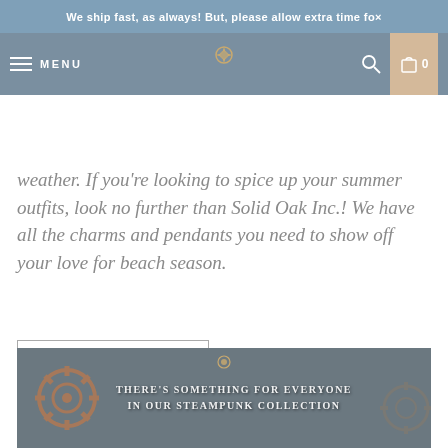We ship fast, as always! But, please allow extra time fo×
weather. If you're looking to spice up your summer outfits, look no further than Solid Oak Inc.! We have all the charms and pendants you need to show off your love for beach season.
READ POST
[Figure (photo): Promotional image with steampunk gear decorations and text reading THERE'S SOMETHING FOR EVERYONE IN OUR STEAMPUNK COLLECTION on a dark grey background with a small logo at top center]